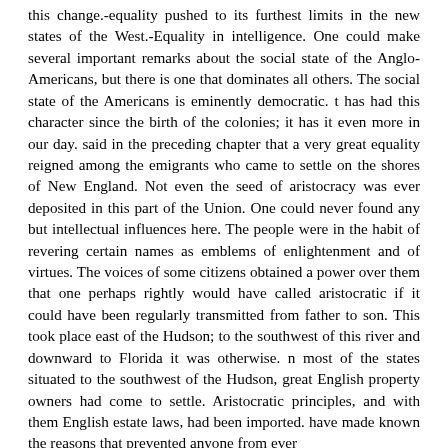this change.-equality pushed to its furthest limits in the new states of the West.-Equality in intelligence. One could make several important remarks about the social state of the Anglo-Americans, but there is one that dominates all others. The social state of the Americans is eminently democratic. t has had this character since the birth of the colonies; it has it even more in our day. said in the preceding chapter that a very great equality reigned among the emigrants who came to settle on the shores of New England. Not even the seed of aristocracy was ever deposited in this part of the Union. One could never found any but intellectual influences here. The people were in the habit of revering certain names as emblems of enlightenment and of virtues. The voices of some citizens obtained a power over them that one perhaps rightly would have called aristocratic if it could have been regularly transmitted from father to son. This took place east of the Hudson; to the southwest of this river and downward to Florida it was otherwise. n most of the states situated to the southwest of the Hudson, great English property owners had come to settle. Aristocratic principles, and with them English estate laws, had been imported. have made known the reasons that prevented anyone from ever